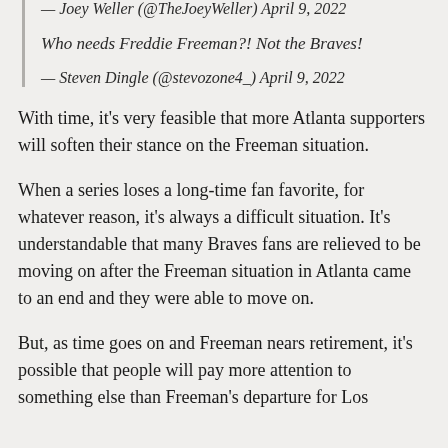— Joey Weller (@TheJoeyWeller) April 9, 2022
Who needs Freddie Freeman?! Not the Braves!
— Steven Dingle (@stevozone4_) April 9, 2022
With time, it's very feasible that more Atlanta supporters will soften their stance on the Freeman situation.
When a series loses a long-time fan favorite, for whatever reason, it's always a difficult situation. It's understandable that many Braves fans are relieved to be moving on after the Freeman situation in Atlanta came to an end and they were able to move on.
But, as time goes on and Freeman nears retirement, it's possible that people will pay more attention to something else than Freeman's departure for Los